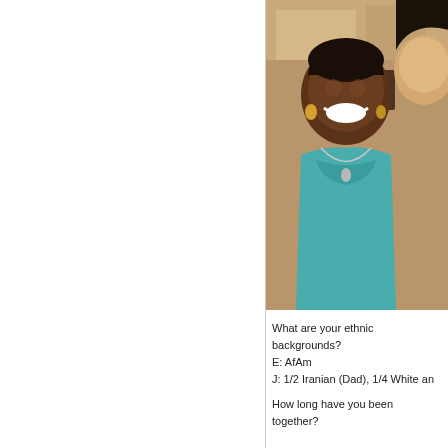[Figure (photo): Close-up photo of two women smiling, one with dark skin wearing teal patterned top and silver necklace, another partially visible on the right side.]
What are your ethnic backgrounds?
E: AfAm
J: 1/2 Iranian (Dad), 1/4 White an
How long have you been together?